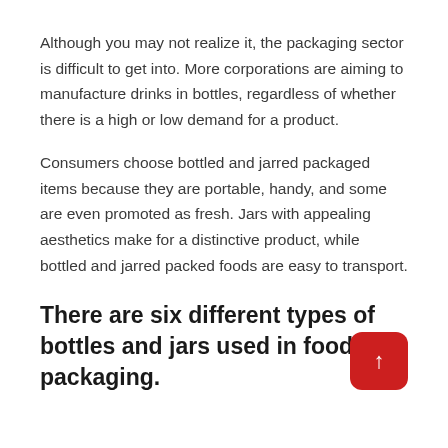Although you may not realize it, the packaging sector is difficult to get into. More corporations are aiming to manufacture drinks in bottles, regardless of whether there is a high or low demand for a product.
Consumers choose bottled and jarred packaged items because they are portable, handy, and some are even promoted as fresh. Jars with appealing aesthetics make for a distinctive product, while bottled and jarred packed foods are easy to transport.
There are six different types of bottles and jars used in food packaging.